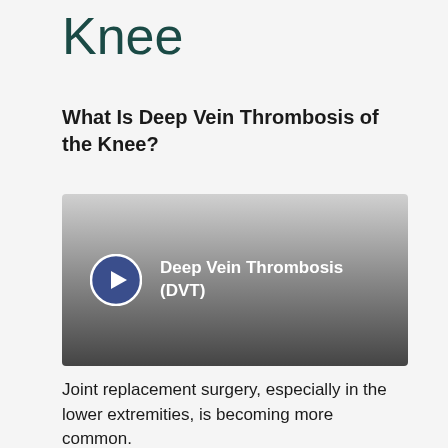Knee
What Is Deep Vein Thrombosis of the Knee?
[Figure (screenshot): Video thumbnail with gradient background from light gray to dark gray, featuring a play button icon and the text 'Deep Vein Thrombosis (DVT)']
Joint replacement surgery, especially in the lower extremities, is becoming more common.